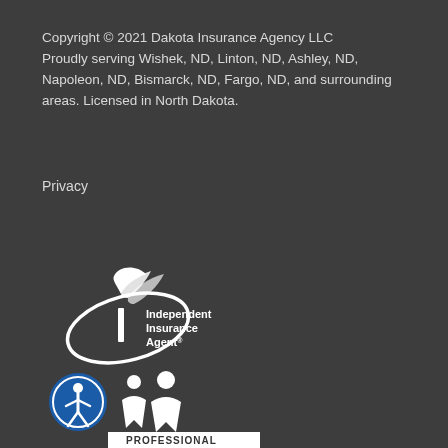Copyright © 2021 Dakota Insurance Agency LLC
Proudly serving Wishek, ND, Linton, ND, Ashley, ND, Napoleon, ND, Bismarck, ND, Fargo, ND, and surrounding areas. Licensed in North Dakota.
Privacy
[Figure (logo): Independent Insurance Agent logo — stylized bird/wing with circular swoosh and the text 'Independent Insurance Agent' with a registered trademark symbol]
[Figure (logo): Professional Insurance Agents (PIA) logo — blue accessibility circle icon next to a white silhouette of two figures, with 'PROFESSIONAL INSURANCE' text below on a white bar]